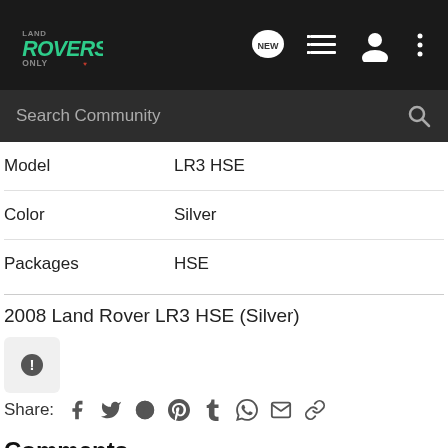[Figure (logo): Land Rovers Only logo — teal/green stylized text on dark navbar]
Search Community
| Field | Value |
| --- | --- |
| Model | LR3 HSE |
| Color | Silver |
| Packages | HSE |
2008 Land Rover LR3 HSE (Silver)
Share:
Comments
There are no comments to display.